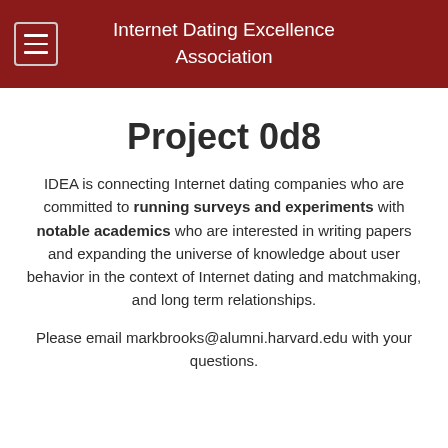Internet Dating Excellence Association
Project 0d8
IDEA is connecting Internet dating companies who are committed to running surveys and experiments with notable academics who are interested in writing papers and expanding the universe of knowledge about user behavior in the context of Internet dating and matchmaking, and long term relationships.
Please email markbrooks@alumni.harvard.edu with your questions.